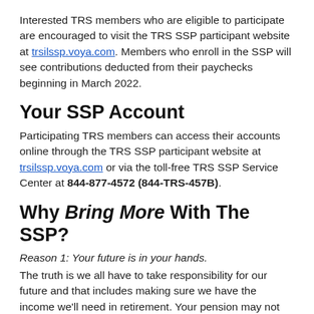Interested TRS members who are eligible to participate are encouraged to visit the TRS SSP participant website at trsilssp.voya.com. Members who enroll in the SSP will see contributions deducted from their paychecks beginning in March 2022.
Your SSP Account
Participating TRS members can access their accounts online through the TRS SSP participant website at trsilssp.voya.com or via the toll-free TRS SSP Service Center at 844-877-4572 (844-TRS-457B).
Why Bring More With The SSP?
Reason 1: Your future is in your hands.
The truth is we all have to take responsibility for our future and that includes making sure we have the income we'll need in retirement. Your pension may not cover your entire retirement, so funding the rest of your retirement paycheck is up to you through personal savings and other retirement